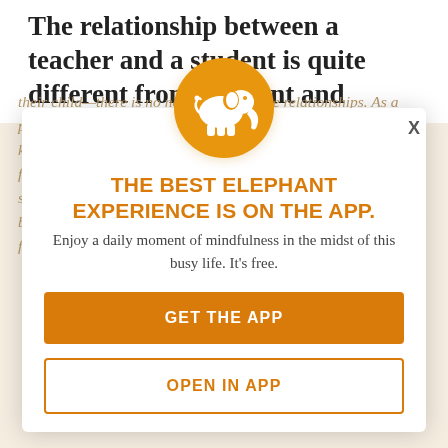The relationship between a teacher and a student is quite different from a parent and
their child—there is no need to alter those relationships. As a parent, you already teach your child everything they need to know. There is no need to alter the relationship in order to facilitate their education. One of Deschooling to ... from a ... setting. In school, children need to ask for permission to use the bathroom, raise their hands to share thoughts, and they must wait for an assessment to ... respect their ...
[Figure (logo): White elephant icon on orange circle background]
THE BEST ELEPHANT EXPERIENCE IS ON THE APP.
Enjoy a daily moment of mindfulness in the midst of this busy life. It's free.
GET THE APP
OPEN IN APP